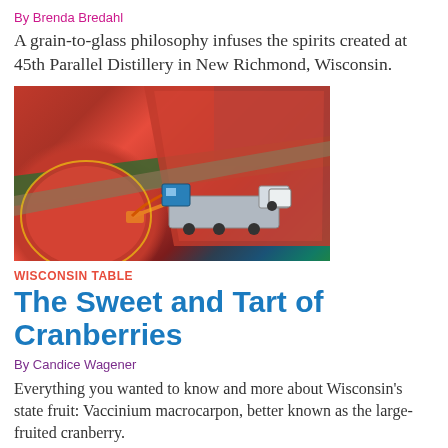By Brenda Bredahl
A grain-to-glass philosophy infuses the spirits created at 45th Parallel Distillery in New Richmond, Wisconsin.
[Figure (photo): Aerial view of cranberry bogs being harvested, showing red flooded fields with harvesting machinery and a large truck]
WISCONSIN TABLE
The Sweet and Tart of Cranberries
By Candice Wagener
Everything you wanted to know and more about Wisconsin's state fruit: Vaccinium macrocarpon, better known as the large-fruited cranberry.